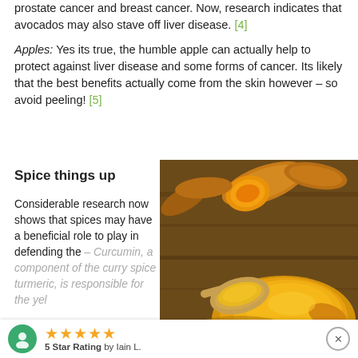prostate cancer and breast cancer. Now, research indicates that avocados may also stave off liver disease. [4]
Apples: Yes its true, the humble apple can actually help to protect against liver disease and some forms of cancer. Its likely that the best benefits actually come from the skin however – so avoid peeling! [5]
Spice things up
Considerable research now shows that spices may have a beneficial role to play in defending the liver – Curcumin, a component of the curry spice turmeric, is responsible for the yellow pigment, and some
[Figure (photo): Photo of turmeric root pieces and bright yellow turmeric powder on a wooden spoon and surface]
5 Star Rating by Iain L.